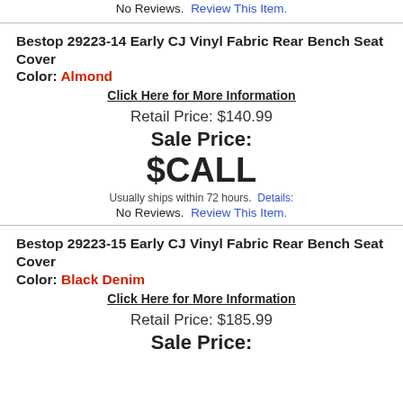No Reviews. Review This Item.
Bestop 29223-14 Early CJ Vinyl Fabric Rear Bench Seat Cover Color: Almond
Click Here for More Information
Retail Price: $140.99
Sale Price:
$CALL
Usually ships within 72 hours. Details:
No Reviews. Review This Item.
Bestop 29223-15 Early CJ Vinyl Fabric Rear Bench Seat Cover Color: Black Denim
Click Here for More Information
Retail Price: $185.99
Sale Price: